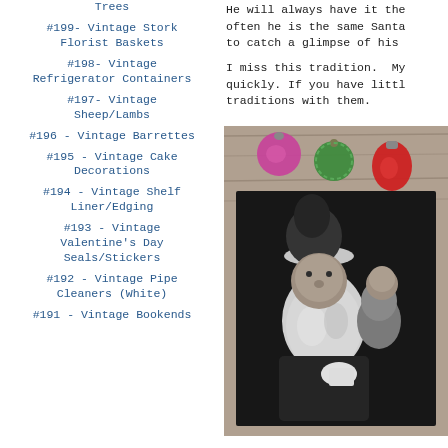Trees
#199- Vintage Stork Florist Baskets
#198- Vintage Refrigerator Containers
#197- Vintage Sheep/Lambs
#196 - Vintage Barrettes
#195 - Vintage Cake Decorations
#194 - Vintage Shelf Liner/Edging
#193 - Vintage Valentine's Day Seals/Stickers
#192 - Vintage Pipe Cleaners (White)
#191 - Vintage Bookends
He will always have it the often he is the same Santa to catch a glimpse of his
I miss this tradition. My quickly. If you have littl traditions with them.
[Figure (photo): Black and white vintage photo of a child sitting on Santa Claus's lap, surrounded by colorful Christmas ornaments (red, green, pink) on a wooden surface background]